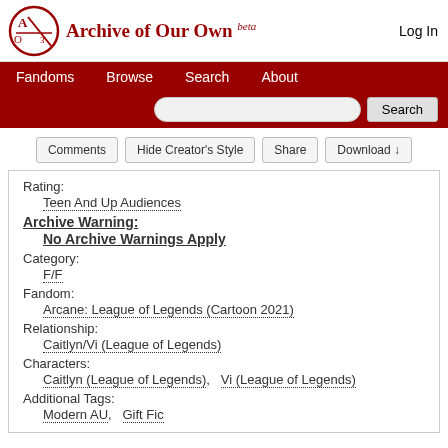Archive of Our Own beta — Log In
Fandoms  Browse  Search  About
Search
Comments  Hide Creator's Style  Share  Download ↓
Rating:
Teen And Up Audiences
Archive Warning:
No Archive Warnings Apply
Category:
F/F
Fandom:
Arcane: League of Legends (Cartoon 2021)
Relationship:
Caitlyn/Vi (League of Legends)
Characters:
Caitlyn (League of Legends),   Vi (League of Legends)
Additional Tags:
Modern AU,   Gift Fic